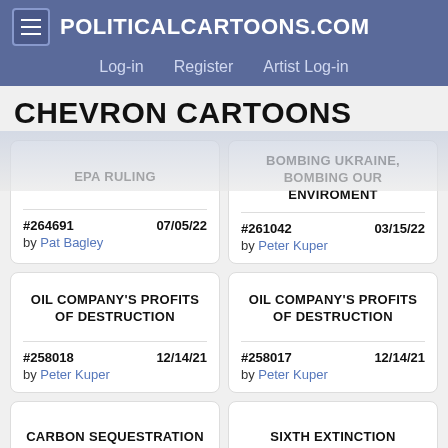POLITICALCARTOONS.COM — Log-in | Register | Artist Log-in
CHEVRON CARTOONS
EPA RULING | #264691 07/05/22 by Pat Bagley
BOMBING UKRAINE, BOMBING OUR ENVIROMENT | #261042 03/15/22 by Peter Kuper
OIL COMPANY'S PROFITS OF DESTRUCTION | #258018 12/14/21 by Peter Kuper
OIL COMPANY'S PROFITS OF DESTRUCTION | #258017 12/14/21 by Peter Kuper
CARBON SEQUESTRATION | #256218 10/13/21
SIXTH EXTINCTION | #252101 05/29/21